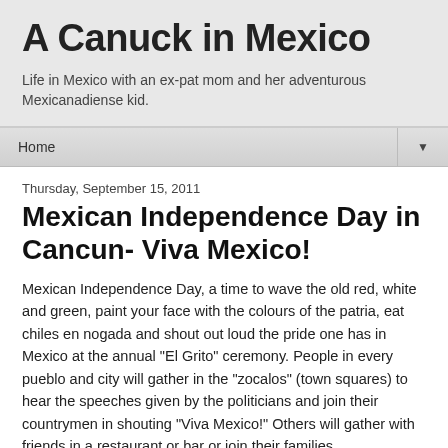A Canuck in Mexico
Life in Mexico with an ex-pat mom and her adventurous Mexicanadiense kid.
Home ▼
Thursday, September 15, 2011
Mexican Independence Day in Cancun- Viva Mexico!
Mexican Independence Day, a time to wave the old red, white and green, paint your face with the colours of the patria, eat chiles en nogada and shout out loud the pride one has in Mexico at the annual "El Grito" ceremony. People in every pueblo and city will gather in the "zocalos" (town squares) to hear the speeches given by the politicians and join their countrymen in shouting "Viva Mexico!" Others will gather with friends in a restaurant or bar or join their families